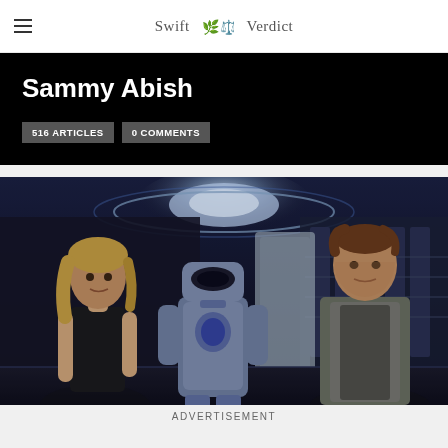Swift Verdict
Sammy Abish
516 ARTICLES   0 COMMENTS
[Figure (photo): Science fiction movie scene showing a woman with blonde hair, a humanoid robot in the center, and a man in a space suit, inside a futuristic spacecraft interior with glowing circular ceiling light.]
ADVERTISEMENT